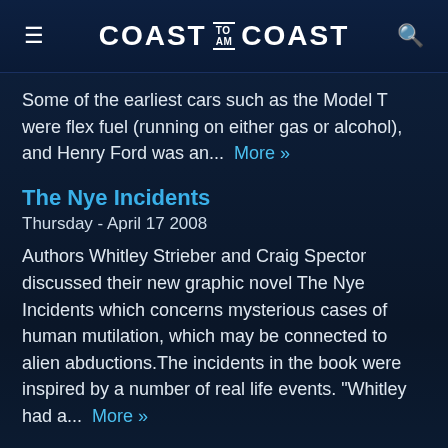COAST TO AM COAST
Some of the earliest cars such as the Model T were flex fuel (running on either gas or alcohol), and Henry Ford was an... More »
The Nye Incidents
Thursday - April 17 2008
Authors Whitley Strieber and Craig Spector discussed their new graphic novel The Nye Incidents which concerns mysterious cases of human mutilation, which may be connected to alien abductions.The incidents in the book were inspired by a number of real life events. "Whitley had a... More »
Bermuda Triangle Incident/Skinwalker Ranch Replay
Wednesday - January 30 2008